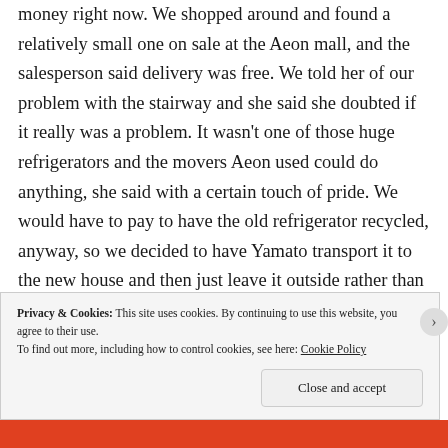money right now. We shopped around and found a relatively small one on sale at the Aeon mall, and the salesperson said delivery was free. We told her of our problem with the stairway and she said she doubted if it really was a problem. It wasn't one of those huge refrigerators and the movers Aeon used could do anything, she said with a certain touch of pride. We would have to pay to have the old refrigerator recycled, anyway, so we decided to have Yamato transport it to the new house and then just leave it outside rather than take it upstairs. Then, when the Aeon guys delivered the new refrigerator
Privacy & Cookies: This site uses cookies. By continuing to use this website, you agree to their use.
To find out more, including how to control cookies, see here: Cookie Policy
Close and accept